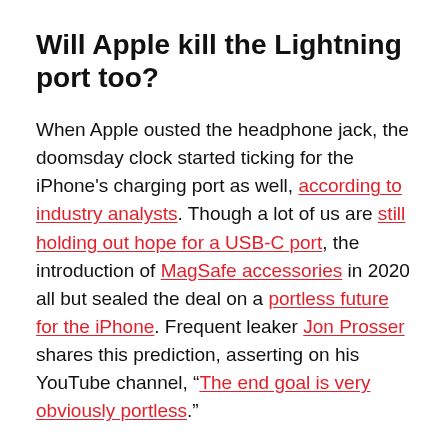Will Apple kill the Lightning port too?
When Apple ousted the headphone jack, the doomsday clock started ticking for the iPhone's charging port as well, according to industry analysts. Though a lot of us are still holding out hope for a USB-C port, the introduction of MagSafe accessories in 2020 all but sealed the deal on a portless future for the iPhone. Frequent leaker Jon Prosser shares this prediction, asserting on his YouTube channel, “The end goal is very obviously portless”.
But don’t get too excited (nervous?): Kuo predicts that only one 2021 iPhone will be completely